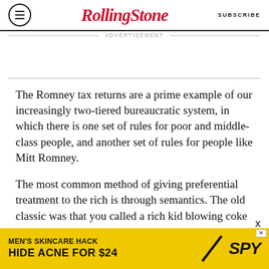Rolling Stone — SUBSCRIBE
ADVERTISEMENT
The Romney tax returns are a prime example of our increasingly two-tiered bureaucratic system, in which there is one set of rules for poor and middle-class people, and another set of rules for people like Mitt Romney.
The most common method of giving preferential treatment to the rich is through semantics. The old classic was that you called a rich kid blowing coke
[Figure (infographic): Bottom advertisement banner: yellow background with text 'MEN'S SKINCARE HACK / HIDE ACNE FOR $24' and SPY logo with diagonal line graphic]